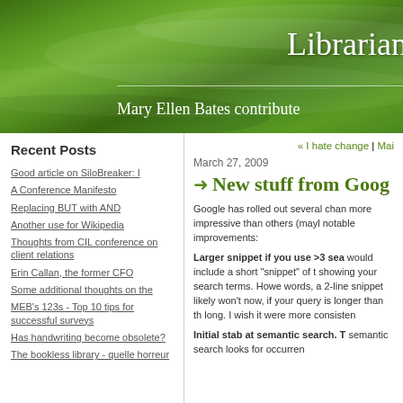Librarian
Mary Ellen Bates contribute
Recent Posts
Good article on SiloBreaker: I
A Conference Manifesto
Replacing BUT with AND
Another use for Wikipedia
Thoughts from CIL conference on client relations
Erin Callan, the former CFO
Some additional thoughts on the
MEB's 123s - Top 10 tips for successful surveys
Has handwriting become obsolete?
The bookless library - quelle horreur
« I hate change | Mai
March 27, 2009
New stuff from Goog
Google has rolled out several chan more impressive than others (mayl notable improvements:
Larger snippet if you use >3 sea would include a short "snippet" of t showing your search terms. Howe words, a 2-line snippet likely won't now, if your query is longer than th long. I wish it were more consisten
Initial stab at semantic search. T semantic search looks for occurren